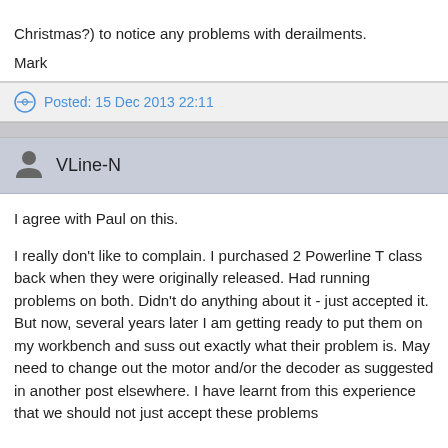Christmas?) to notice any problems with derailments.
Mark
Posted: 15 Dec 2013 22:11
VLine-N
I agree with Paul on this.
I really don't like to complain. I purchased 2 Powerline T class back when they were originally released. Had running problems on both. Didn't do anything about it - just accepted it. But now, several years later I am getting ready to put them on my workbench and suss out exactly what their problem is. May need to change out the motor and/or the decoder as suggested in another post elsewhere. I have learnt from this experience that we should not just accept these problems